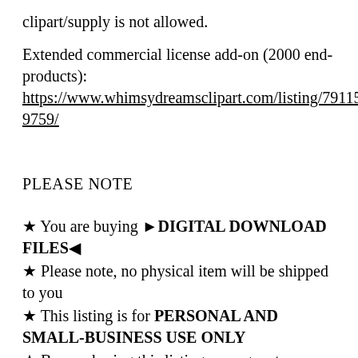clipart/supply is not allowed.
Extended commercial license add-on (2000 end-products): https://www.whimsydreamsclipart.com/listing/791159759/
PLEASE NOTE
★ You are buying ▶DIGITAL DOWNLOAD FILES◀
★ Please note, no physical item will be shipped to you
★ This listing is for PERSONAL AND SMALL-BUSINESS USE ONLY
★ By purchasing this listing you agree to comply with the terms of use